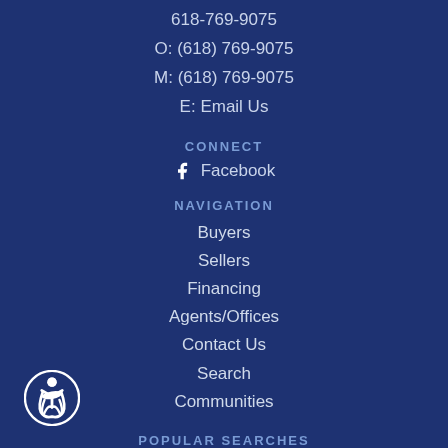618-769-9075
O: (618) 769-9075
M: (618) 769-9075
E: Email Us
CONNECT
Facebook
NAVIGATION
Buyers
Sellers
Financing
Agents/Offices
Contact Us
Search
Communities
POPULAR SEARCHES